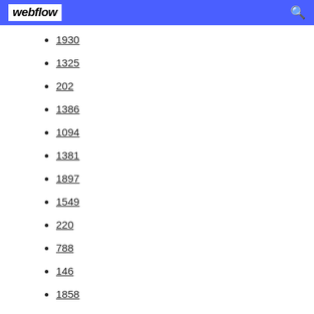webflow
1930
1325
202
1386
1094
1381
1897
1549
220
788
146
1858
1536